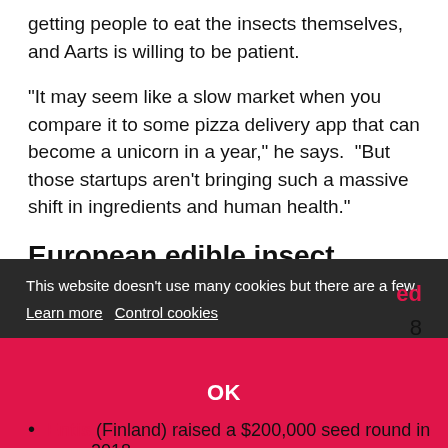getting people to eat the insects themselves, and Aarts is willing to be patient.
“It may seem like a slow market when you compare it to some pizza delivery app that can become a unicorn in a year,” he says. “But those startups aren’t bringing such a massive shift in ingredients and human health.”
European edible insect companies and funding
Eat Grub (UK) raised $250,000 in 2016
Jimini’s (France) raised $1m in 2017
[partially obscured] (France) raised $900,000 in 2017
[partially obscured] raised [obscured] 8
Entis (Finland) raised a $200,000 seed round in 2018